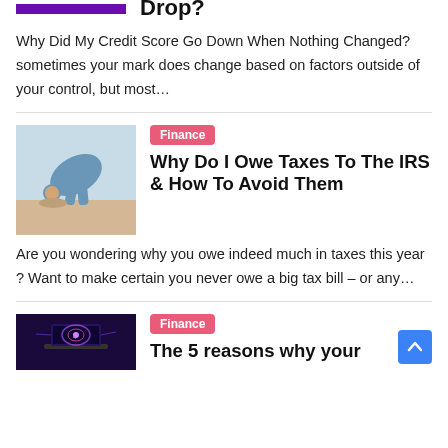Drop?
Why Did My Credit Score Go Down When Nothing Changed? sometimes your mark does change based on factors outside of your control, but most…
[Figure (photo): Person burying head in sand at beach]
Finance
Why Do I Owe Taxes To The IRS & How To Avoid Them
Are you wondering why you owe indeed much in taxes this year ? Want to make certain you never owe a big tax bill – or any…
[Figure (photo): Tech laptop with colorful neon graphic on dark purple background]
Finance
The 5 reasons why your